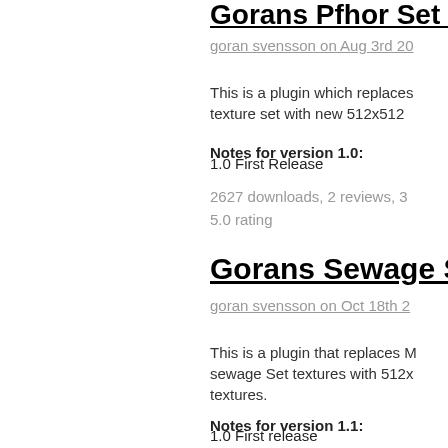Gorans Pfhor Set 1.0
goran svensson on Aug 3rd 20
This is a plugin which replaces texture set with new 512x512
Notes for version 1.0:
1.0 First Release
2627 downloads, 2 reviews, 3 5.0 rating
Gorans Sewage Set 1
goran svensson on Oct 18th 2
This is a plugin that replaces M sewage Set textures with 512x textures.
Notes for version 1.1:
1.0 First release
1.1 Fixed glow maps
2599 downloads, 2 reviews,